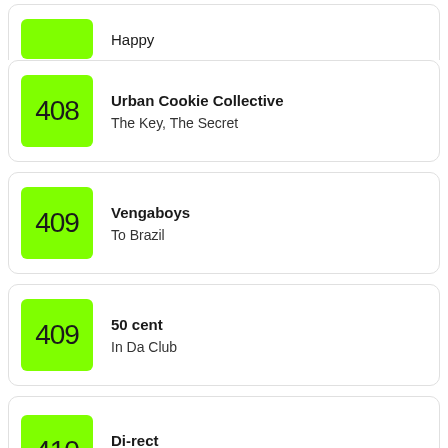Happy
408 — Urban Cookie Collective — The Key, The Secret
409 — Vengaboys — To Brazil
409 — 50 cent — In Da Club
410 — Di-rect — Soldier On